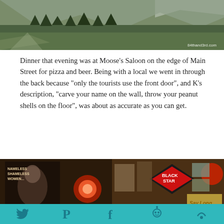[Figure (photo): Outdoor landscape photo showing green alpine meadow, evergreen trees, and distant snow-capped mountains. Watermark '84thand3rd.com' in bottom right.]
Dinner that evening was at Moose’s Saloon on the edge of Main Street for pizza and beer. Being with a local we went in through the back because “only the tourists use the front door”, and K’s description, “carve your name on the wall, throw your peanut shells on the floor”, was about as accurate as you can get.
[Figure (photo): Two interior photos of Moose's Saloon side by side. Left: dark interior with a movie poster reading 'NAMELESS SHAMELESS WOMEN... at Moo...' and red glowing light. Right: wooden bar interior walls covered with signs and memorabilia including a 'Black Star' beer sign and a 'Say Long' poster.]
[Figure (infographic): Teal social sharing bar at bottom with icons for Twitter (bird), Pinterest (P), Facebook (f), Reddit (alien), and another icon.]